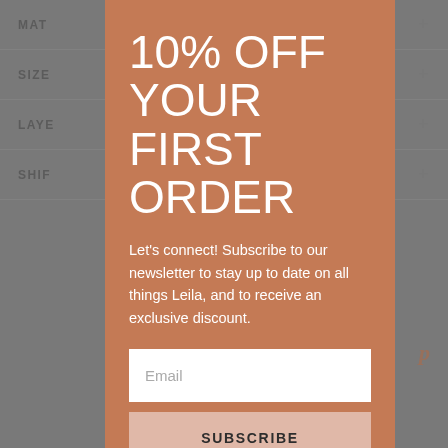10% OFF YOUR FIRST ORDER
Let's connect! Subscribe to our newsletter to stay up to date on all things Leila, and to receive an exclusive discount.
Email
SUBSCRIBE
No, thanks